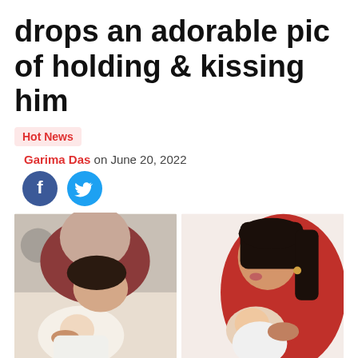drops an adorable pic of holding & kissing him
Hot News
Garima Das on June 20, 2022
[Figure (photo): Two side-by-side photos of a woman kissing and holding a newborn baby. Left photo shows a woman in a maroon top leaning over a sleeping infant. Right photo shows a woman in a red outfit kissing a baby she is holding.]